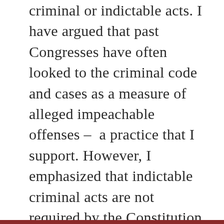criminal or indictable acts. I have argued that past Congresses have often looked to the criminal code and cases as a measure of alleged impeachable offenses –  a practice that I support. However, I emphasized that indictable criminal acts are not required by the Constitution.

Since Rep. Wild focuses on how my Trump testimony changed on this issue, I will focus on the Trump